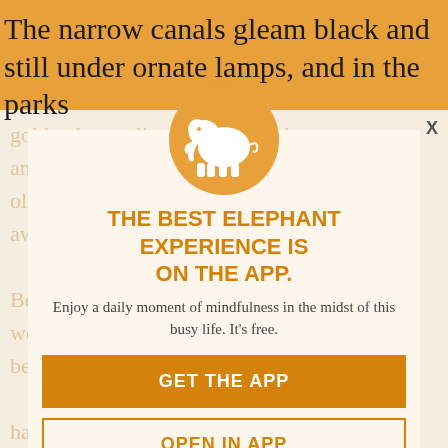The narrow canals gleam black and still under ornate lamps, and in the parks
golden leaves lie on muddy paths and wooden benches. By the light of day old women dressed in black sweep them away
[Figure (illustration): Orange circle with white elephant silhouette logo]
THE BEST ELEPHANT EXPERIENCE IS ON THE APP.
Enjoy a daily moment of mindfulness in the midst of this busy life. It's free.
GET THE APP
OPEN IN APP